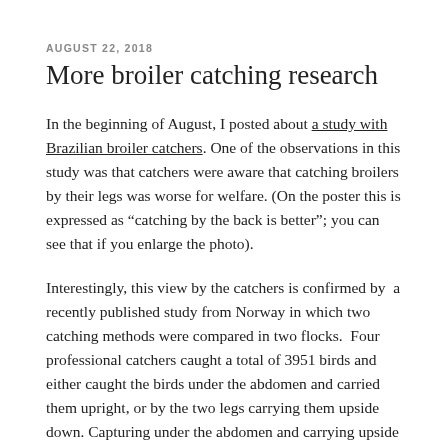AUGUST 22, 2018
More broiler catching research
In the beginning of August, I posted about a study with Brazilian broiler catchers. One of the observations in this study was that catchers were aware that catching broilers by their legs was worse for welfare. (On the poster this is expressed as "catching by the back is better"; you can see that if you enlarge the photo).
Interestingly, this view by the catchers is confirmed by a recently published study from Norway in which two catching methods were compared in two flocks. Four professional catchers caught a total of 3951 birds and either caught the birds under the abdomen and carried them upright, or by the two legs carrying them upside down. Capturing under the abdomen and carrying upside down resulted in faster loading into crates, more equal